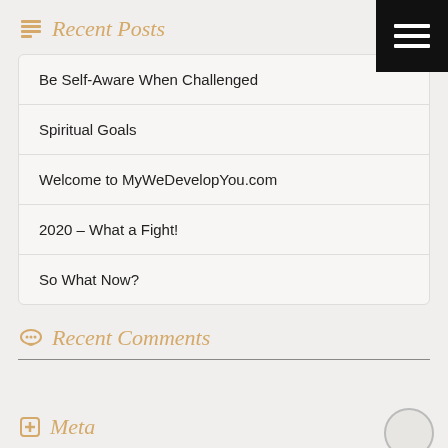Recent Posts
Be Self-Aware When Challenged
Spiritual Goals
Welcome to MyWeDevelopYou.com
2020 – What a Fight!
So What Now?
Recent Comments
Meta